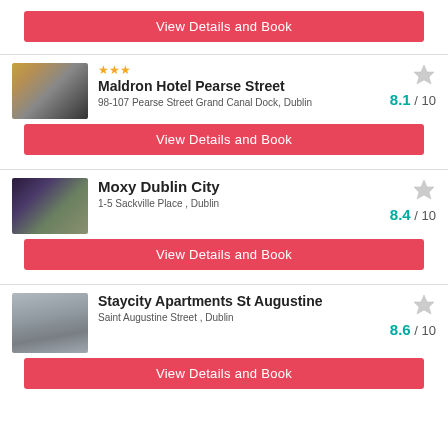View Details and Book
Maldron Hotel Pearse Street
98-107 Pearse Street Grand Canal Dock, Dublin
8.1 / 10
View Details and Book
Moxy Dublin City
1-5 Sackville Place , Dublin
8.4 / 10
View Details and Book
Staycity Apartments St Augustine
Saint Augustine Street , Dublin
8.6 / 10
View Details and Book